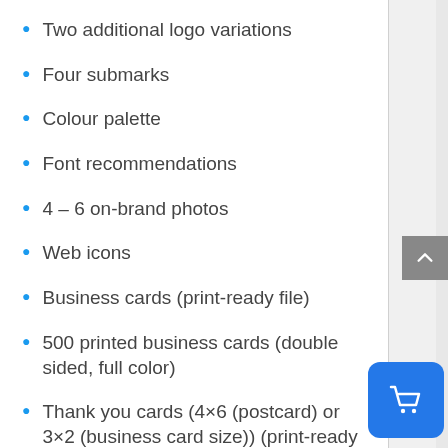Two additional logo variations
Four submarks
Colour palette
Font recommendations
4 – 6 on-brand photos
Web icons
Business cards (print-ready file)
500 printed business cards (double sided, full color)
Thank you cards (4×6 (postcard) or 3×2 (business card size)) (print-ready file)